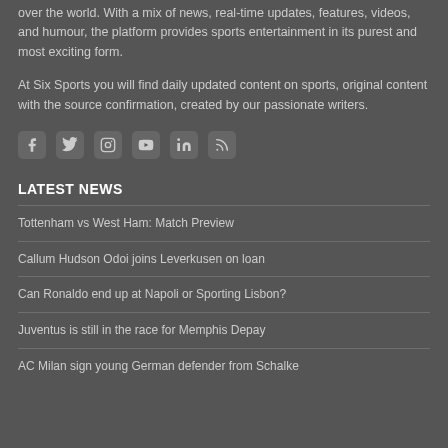over the world. With a mix of news, real-time updates, features, videos, and humour, the platform provides sports entertainment in its purest and most exciting form.
At Six Sports you will find daily updated content on sports, original content with the source confirmation, created by our passionate writers.
[Figure (infographic): Row of six social media icon buttons: Facebook, Twitter, Instagram, YouTube, LinkedIn, RSS]
LATEST NEWS
Tottenham vs West Ham: Match Preview
Callum Hudson Odoi joins Leverkusen on loan
Can Ronaldo end up at Napoli or Sporting Lisbon?
Juventus is still in the race for Memphis Depay
AC Milan sign young German defender from Schalke